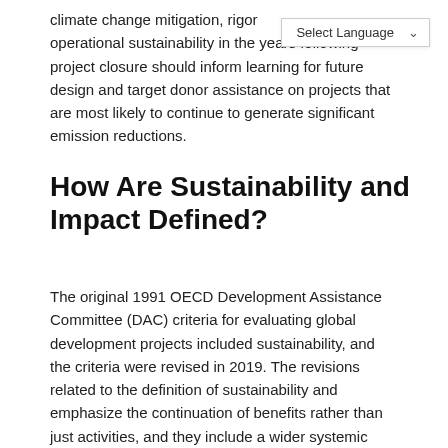climate change mitigation, rigor... operational sustainability in the years following project closure should inform learning for future design and target donor assistance on projects that are most likely to continue to generate significant emission reductions.
How Are Sustainability and Impact Defined?
The original 1991 OECD Development Assistance Committee (DAC) criteria for evaluating global development projects included sustainability, and the criteria were revised in 2019. The revisions related to the definition of sustainability and emphasize the continuation of benefits rather than just activities, and they include a wider systemic context beyond the financial and environmental resources needed to sustain those benefits, such as